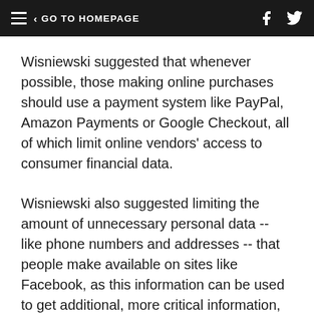GO TO HOMEPAGE
Wisniewski suggested that whenever possible, those making online purchases should use a payment system like PayPal, Amazon Payments or Google Checkout, all of which limit online vendors' access to consumer financial data.
Wisniewski also suggested limiting the amount of unnecessary personal data -- like phone numbers and addresses -- that people make available on sites like Facebook, as this information can be used to get additional, more critical information, from banks.